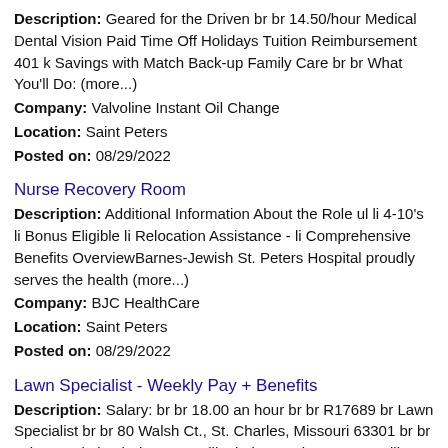Description: Geared for the Driven br br 14.50/hour Medical Dental Vision Paid Time Off Holidays Tuition Reimbursement 401 k Savings with Match Back-up Family Care br br What You'll Do: (more...)
Company: Valvoline Instant Oil Change
Location: Saint Peters
Posted on: 08/29/2022
Nurse Recovery Room
Description: Additional Information About the Role ul li 4-10's li Bonus Eligible li Relocation Assistance - li Comprehensive Benefits OverviewBarnes-Jewish St. Peters Hospital proudly serves the health (more...)
Company: BJC HealthCare
Location: Saint Peters
Posted on: 08/29/2022
Lawn Specialist - Weekly Pay + Benefits
Description: Salary: br br 18.00 an hour br br R17689 br Lawn Specialist br br 80 Walsh Ct., St. Charles, Missouri 63301 br br Job Description br br Do you like being outdoors Do you like a (more...)
Company: TruGreen
Location: Saint Peters
Posted on: 08/29/2022